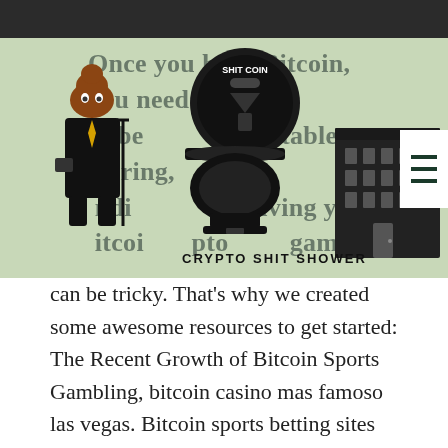[Figure (logo): Crypto Shit Shower logo with cartoon poop character in suit, toilet with 'Shit Coin' coin above it, and building illustration. Text reads 'CRYPTO SHIT SHOWER'.]
Once you have Bitcoin, you need to be comfortable storing, and receiving your bitcoin crypto gambling can be tricky. That's why we created some awesome resources to get started: The Recent Growth of Bitcoin Sports Gambling, bitcoin casino mas famoso las vegas. Bitcoin sports betting sites have flooded the market during